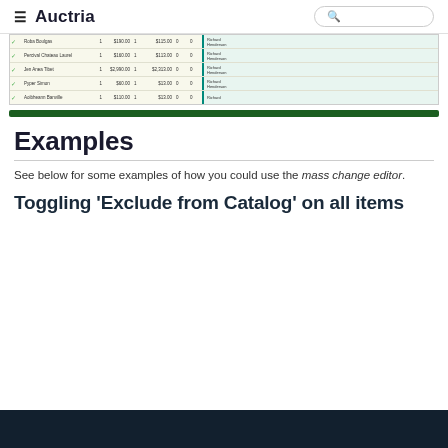≡ Auctria
[Figure (screenshot): Screenshot of a mass change editor table showing rows with checkboxes, names, numeric values, and a teal-highlighted rightmost column with 'Richard Henderson' entries. A dark green horizontal bar appears below the table.]
Examples
See below for some examples of how you could use the mass change editor.
Toggling 'Exclude from Catalog' on all items
[Figure (screenshot): Dark navy/black area at the bottom of the page, partial screenshot.]